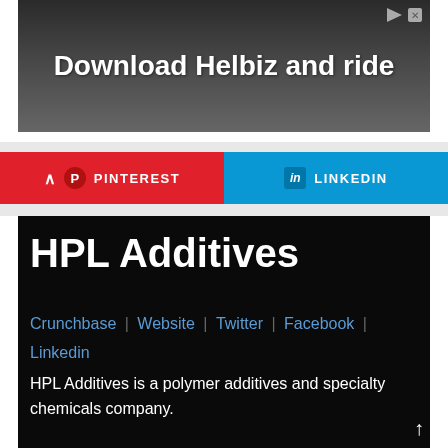[Figure (screenshot): Advertisement banner: 'Download Helbiz and ride' with a dark urban background and a person with a camera]
[Figure (screenshot): Social share buttons row: Pinterest (red) with up arrow on left, LinkedIn (blue) on right]
HPL Additives
Crunchbase | Website | Twitter | Facebook | Linkedin
HPL Additives is a polymer additives and specialty chemicals company.